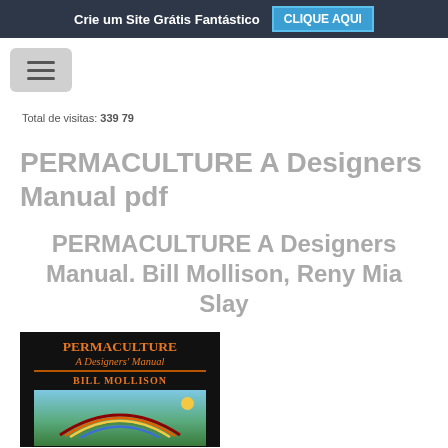Crie um Site Grátis Fantástico  CLIQUE AQUI
Total de visitas: 33979
PERMACULTURE A Designers Manual pdf
PERMACULTURE A Designers Manual. Bill Mollison, Reny Mia Slay
[Figure (photo): Book cover of Permaculture: A Designers' Manual by Bill Mollison, showing the title in orange text on black background with a colorful illustration of a rainbow over green landscape with a sun]